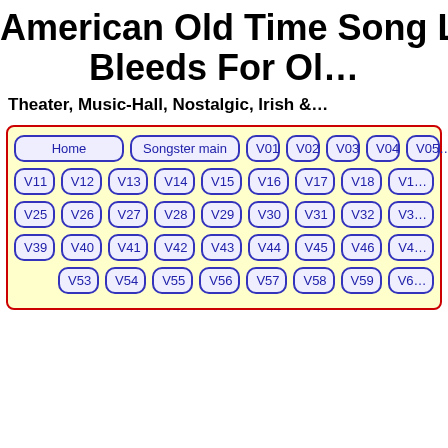American Old Time Song L… Bleeds For Ol…
Theater, Music-Hall, Nostalgic, Irish &…
[Figure (other): Navigation button grid with Home, Songster main, and volume buttons V01-V60+ arranged in a yellow box with red border]